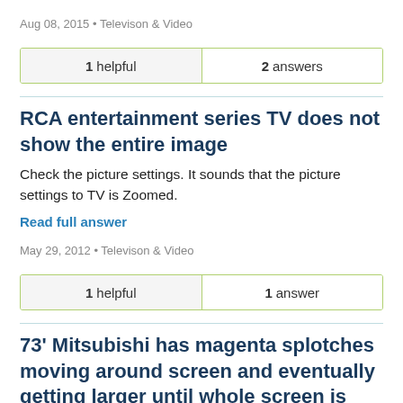Aug 08, 2015 • Televison & Video
| 1 helpful | 2 answers |
| --- | --- |
RCA entertainment series TV does not show the entire image
Check the picture settings. It sounds that the picture settings to TV is Zoomed.
Read full answer
May 29, 2012 • Televison & Video
| 1 helpful | 1 answer |
| --- | --- |
73' Mitsubishi has magenta splotches moving around screen and eventually getting larger until whole screen is covered.
bad main digital board. It's the bottom board on the left,